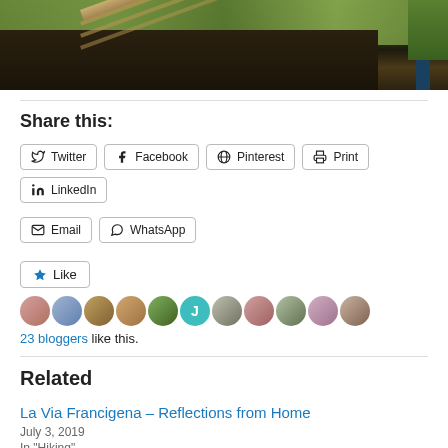[Figure (photo): Outdoor photo showing a garden or track area with wooden planks/ladder, green grass, soil, and a blue post on the right side.]
Share this:
Twitter
Facebook
Pinterest
Print
LinkedIn
Email
WhatsApp
23 bloggers like this.
Related
La Via Francigena – Reflections from Home
July 3, 2019
In "Hiking"